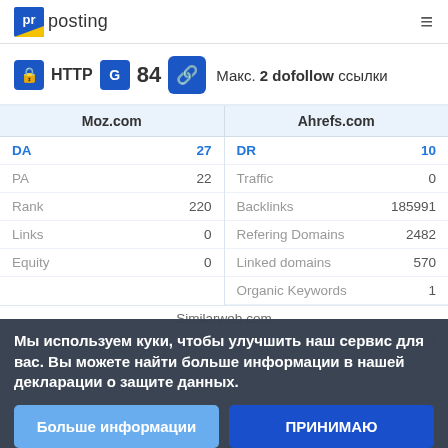pr posting
HTTP 84 Макс. 2 dofollow ссылки
| Moz.com | Ahrefs.com |
| --- | --- |
| DA 27 | DR 10 |
| PA 22 | Traffic 0 |
| Rank 220 | Backlinks 185991 |
| Links 0 | Refering Domains 2482 |
| Equity 0 | Linked domains 570 |
|  | Organic Keywords 1 |
Similarweb.com
Traffic N/A
Мы используем куки, чтобы улучшить наш сервис для вас. Вы можете найти больше информации в нашей декларации о защите данных.
Больше информации
ПРИНИМАЮ